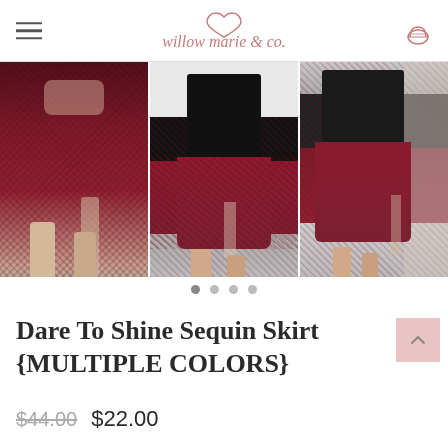willow marie & co.
[Figure (photo): Three side-by-side photos of a model wearing a dark red/burgundy sequin midi skirt with a front slit, paired with a black top and black heeled sandals, shown from different angles.]
Dare To Shine Sequin Skirt {MULTIPLE COLORS}
$44.00  $22.00